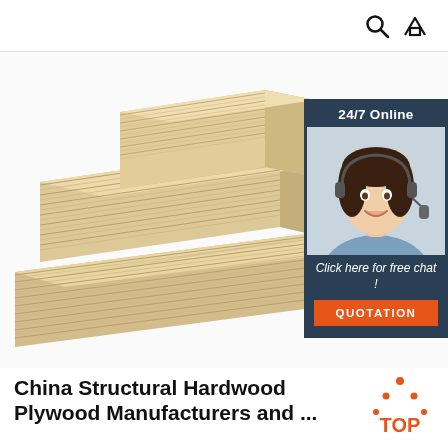Search and Home icons
[Figure (photo): Stacked structural hardwood plywood sheets arranged on a white background, showing layered edges and smooth surfaces. Overlaid with a customer service chat widget on the right side showing '24/7 Online', a female agent with headset, 'Click here for free chat!' text, and an orange QUOTATION button.]
China Structural Hardwood Plywood Manufacturers and ...
2021-8-18 · Structural Hardwood Plywood Manufacturers, Factory, Suppliers From China, Winning customers and ...